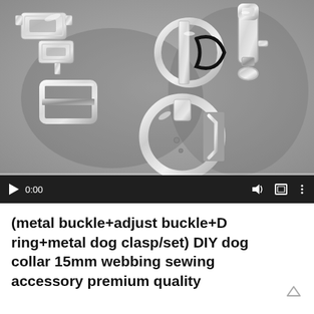[Figure (screenshot): Video player screenshot showing metal dog collar hardware components (buckle, adjustment buckle, D ring, metal dog clasp) arranged on a grey surface. Video controls visible at bottom with play button showing 0:00 timestamp.]
(metal buckle+adjust buckle+D ring+metal dog clasp/set) DIY dog collar 15mm webbing sewing accessory premium quality